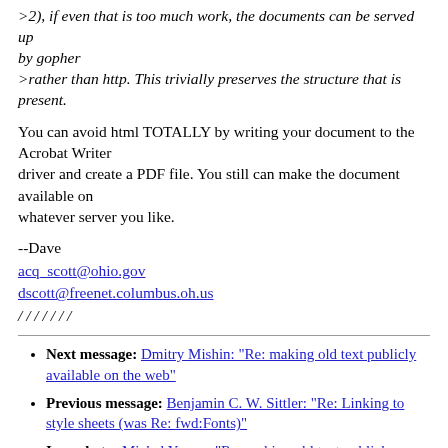>2) if even that is too much work, the documents can be served up by gopher
>rather than http. This trivially preserves the structure that is present.
You can avoid html TOTALLY by writing your document to the Acrobat Writer
driver and create a PDF file. You still can make the document available on
whatever server you like.
--Dave
acq_scott@ohio.gov
dscott@freenet.columbus.oh.us
/ / / / / / /
Next message: Dmitry Mishin: "Re: making old text publicly available on the web"
Previous message: Benjamin C. W. Sittler: "Re: Linking to style sheets (was Re: fwd:Fonts)"
In reply to: Michal Young: "Re: making old text publicly available on the web"
Next in thread: Dmitry Mishin: "Re: making old text publicly available on the web"